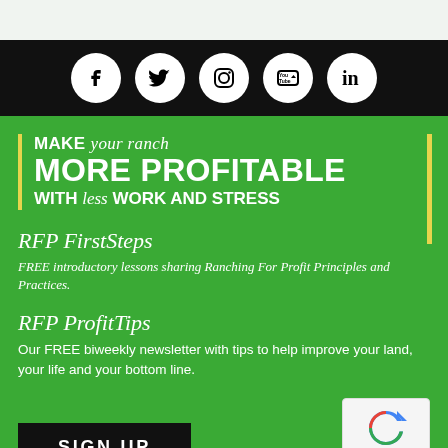[Figure (infographic): Social media icons bar with Facebook, Twitter, Instagram, YouTube, LinkedIn icons on black background]
MAKE your ranch MORE PROFITABLE WITH less WORK AND STRESS
RFP FirstSteps
FREE introductory lessons sharing Ranching For Profit Principles and Practices.
RFP ProfitTips
Our FREE biweekly newsletter with tips to help improve your land, your life and your bottom line.
SIGN UP
[Figure (logo): reCAPTCHA logo with Privacy - Terms text]